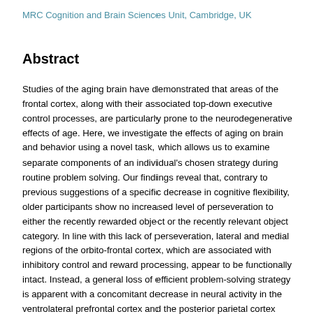MRC Cognition and Brain Sciences Unit, Cambridge, UK
Abstract
Studies of the aging brain have demonstrated that areas of the frontal cortex, along with their associated top-down executive control processes, are particularly prone to the neurodegenerative effects of age. Here, we investigate the effects of aging on brain and behavior using a novel task, which allows us to examine separate components of an individual's chosen strategy during routine problem solving. Our findings reveal that, contrary to previous suggestions of a specific decrease in cognitive flexibility, older participants show no increased level of perseveration to either the recently rewarded object or the recently relevant object category. In line with this lack of perseveration, lateral and medial regions of the orbito-frontal cortex, which are associated with inhibitory control and reward processing, appear to be functionally intact. Instead, a general loss of efficient problem-solving strategy is apparent with a concomitant decrease in neural activity in the ventrolateral prefrontal cortex and the posterior parietal cortex